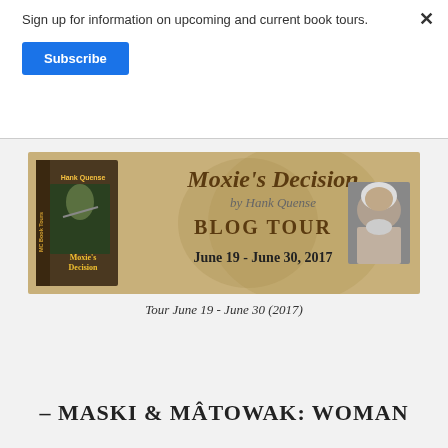Sign up for information on upcoming and current book tours.
Subscribe
[Figure (infographic): Blog tour banner for Moxie's Decision by Hank Quense. MC Book Tours. Shows book cover with warrior figure, author photo, title 'Moxie's Decision by Hank Quense BLOG TOUR June 19 - June 30, 2017'.]
Tour June 19 - June 30 (2017)
- MASKI & MÂTOWAK: WOMAN